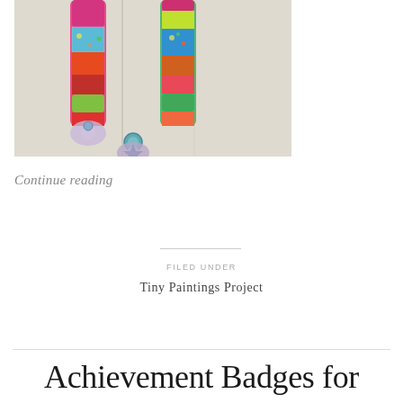[Figure (photo): Colorful textile or fabric art piece hanging on a pale painted door or wall, featuring vibrant patchwork segments in pink, green, teal, and multicolor patterns with decorative embellishments hanging below.]
Continue reading
FILED UNDER
Tiny Paintings Project
Achievement Badges for